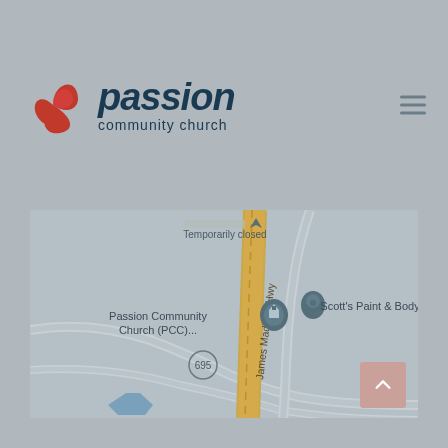[Figure (logo): Passion Community Church logo with red swirl icon and dark blue text]
[Figure (map): Google Maps screenshot showing Passion Community Church (PCC) location on James Madison Hwy with route 695, and Scott's Paint & Body nearby. A business is marked as Temporarily closed at the top.]